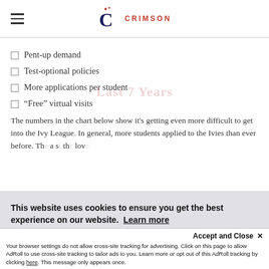CRIMSON
Pent-up demand
Test-optional policies
More applications per student
“Free” virtual visits
The numbers in the chart below show it’s getting even more difficult to get into the Ivy League. In general, more students applied to the Ivies than ever before. Th... a s... th... lov...
This website uses cookies to ensure you get the best experience on our website. Learn more
Accept and Close ×
Your browser settings do not allow cross-site tracking for advertising. Click on this page to allow AdRoll to use cross-site tracking to tailor ads to you. Learn more or opt out of this AdRoll tracking by clicking here. This message only appears once.